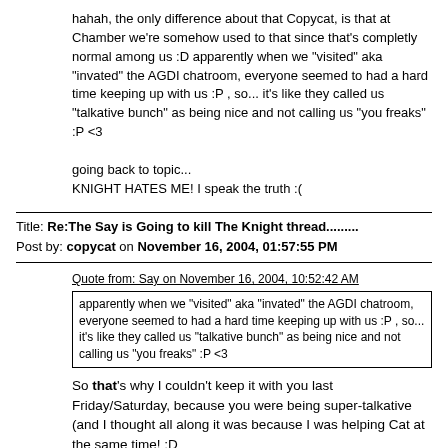hahah, the only difference about that Copycat, is that at Chamber we're somehow used to that since that's completly normal among us :D apparently when we "visited" aka "invated" the AGDI chatroom, everyone seemed to had a hard time keeping up with us :P , so... it's like they called us "talkative bunch" as being nice and not calling us "you freaks" :P <3

going back to topic...
KNIGHT HATES ME! I speak the truth :(
Title: Re:The Say is Going to kill The Knight thread......... Post by: copycat on November 16, 2004, 01:57:55 PM
Quote from: Say on November 16, 2004, 10:52:42 AM
apparently when we "visited" aka "invated" the AGDI chatroom, everyone seemed to had a hard time keeping up with us :P , so... it's like they called us "talkative bunch" as being nice and not calling us "you freaks" :P <3
So that's why I couldn't keep it with you last Friday/Saturday, because you were being super-talkative (and I thought all along it was because I was helping Cat at the same time! ;D

Now, could someone please tell me when Say is going to unleash her devil-side and kill Knight, so we can put an end to this thread? :P :evil:
Title: Re:The Say is Going to kill The Knight thread......... Post by: ...